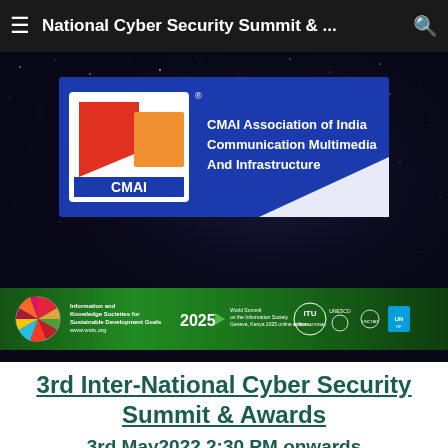National Cyber Security Summit & ...
[Figure (logo): CMAI Association of India - Communication Multimedia And Infrastructure logo on blue background with red and orange geometric shapes]
[Figure (logo): WSIS 2025 banner strip with ITU, UNESCO, UNCTAD and UN logos on green background]
3rd Inter-National Cyber Security Summit & Awards
3rd May2022 2:30 PM onwards